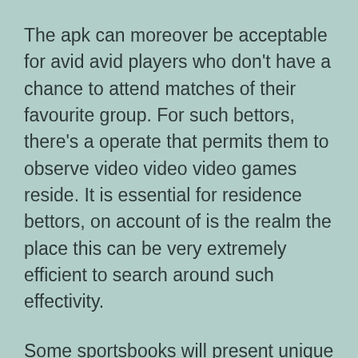The apk can moreover be acceptable for avid avid players who don't have a chance to attend matches of their favourite group. For such bettors, there's a operate that permits them to observe video video video games reside. It is essential for residence bettors, on account of is the realm the place this can be very extremely efficient to search around such effectivity.
Some sportsbooks will present unique promotions must you purchase and use the mobile app. The finest betting apps may have merely as much security as full web site